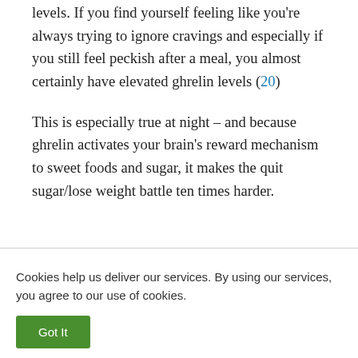levels. If you find yourself feeling like you're always trying to ignore cravings and especially if you still feel peckish after a meal, you almost certainly have elevated ghrelin levels (20)
This is especially true at night – and because ghrelin activates your brain's reward mechanism to sweet foods and sugar, it makes the quit sugar/lose weight battle ten times harder.
Cookies help us deliver our services. By using our services, you agree to our use of cookies.